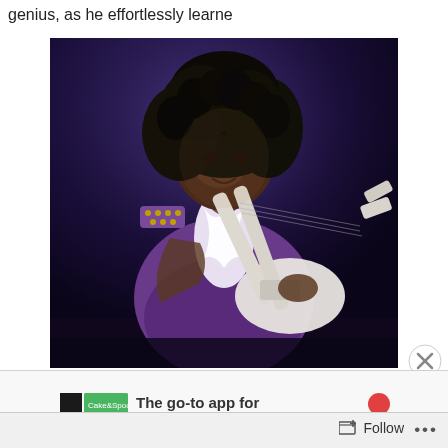genius, as he effortlessly learne
[Figure (photo): Photo of Prince performing on stage playing a white electric guitar, wearing a purple studded jacket with ruffled white shirt, curly dark hair, dark background with blue/purple stage lighting.]
Advertisements
The go-to app for
Follow
...